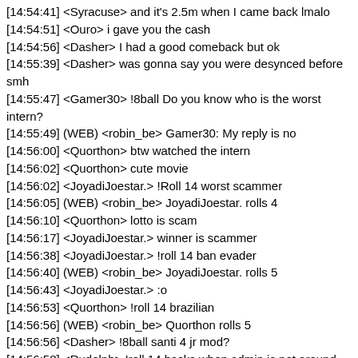[14:54:41] <Syracuse> and it's 2.5m when I came back lmalo
[14:54:51] <Ouro> i gave you the cash
[14:54:56] <Dasher> I had a good comeback but ok
[14:55:39] <Dasher> was gonna say you were desynced before smh
[14:55:47] <Gamer30> !8ball Do you know who is the worst intern?
[14:55:49] (WEB) <robin_be> Gamer30: My reply is no
[14:56:00] <Quorthon> btw watched the intern
[14:56:02] <Quorthon> cute movie
[14:56:02] <JoyadiJoestar.> !Roll 14 worst scammer
[14:56:05] (WEB) <robin_be> JoyadiJoestar. rolls 4
[14:56:10] <Quorthon> lotto is scam
[14:56:17] <JoyadiJoestar.> winner is scammer
[14:56:38] <JoyadiJoestar.> !roll 14 ban evader
[14:56:40] (WEB) <robin_be> JoyadiJoestar. rolls 5
[14:56:43] <JoyadiJoestar.> :o
[14:56:53] <Quorthon> !roll 14 brazilian
[14:56:56] (WEB) <robin_be> Quorthon rolls 5
[14:56:56] <Dasher> !8ball santi 4 jr mod?
[14:56:58] <Rudolph> !roll 14 hacks when admin is not around
[14:56:58] (WEB) <robin_be> Dasher: My reply is no
[14:57:06] <Rudolph> !roll 14 hacks when admin is not around
[14:57:08] (WEB) <robin_be> Rudolph rolls 0
[14:57:13] <Rudolph> that's true